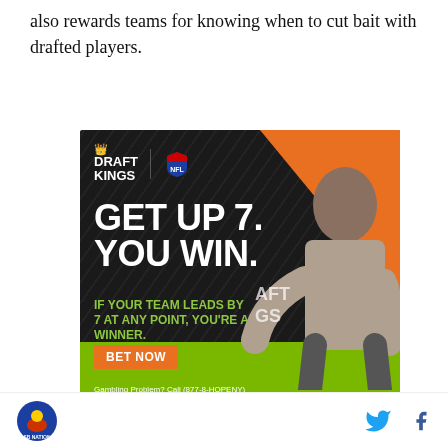also rewards teams for knowing when to cut bait with drafted players.
[Figure (photo): DraftKings NFL advertisement featuring a person pointing at text. Large white text reads 'GET UP 7. YOU WIN.' Green text reads 'IF YOUR TEAM LEADS BY 7 AT ANY POINT, YOU'RE A WINNER.' Orange button says 'BET NOW'. Disclaimer: 'Gambling Problem? Call (877-8-HOPENY) or text HOPENY (467369).']
For example, you get good credit for guys who play well. but play sparingly. Using a metric like AV which